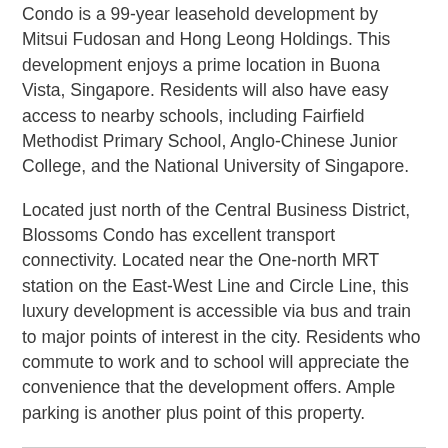Condo is a 99-year leasehold development by Mitsui Fudosan and Hong Leong Holdings. This development enjoys a prime location in Buona Vista, Singapore. Residents will also have easy access to nearby schools, including Fairfield Methodist Primary School, Anglo-Chinese Junior College, and the National University of Singapore.
Located just north of the Central Business District, Blossoms Condo has excellent transport connectivity. Located near the One-north MRT station on the East-West Line and Circle Line, this luxury development is accessible via bus and train to major points of interest in the city. Residents who commute to work and to school will appreciate the convenience that the development offers. Ample parking is another plus point of this property.